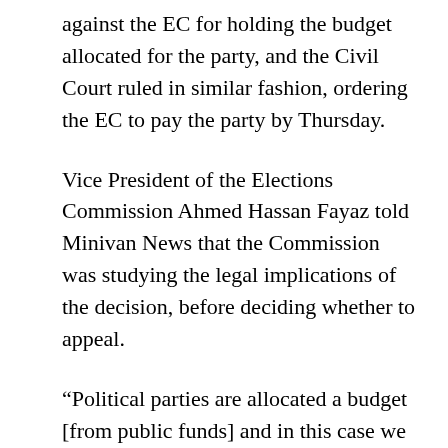against the EC for holding the budget allocated for the party, and the Civil Court ruled in similar fashion, ordering the EC to pay the party by Thursday.
Vice President of the Elections Commission Ahmed Hassan Fayaz told Minivan News that the Commission was studying the legal implications of the decision, before deciding whether to appeal.
“Political parties are allocated a budget [from public funds] and in this case we felt these parties were not doing anything [political], and decided it was time to be proactive and make a decision,” he said.
“In the absence of a law you look to public opinion,” he said. “Public opinion was that these parties were not operating as political parties, but were still receiving money from the Elections Commission.”